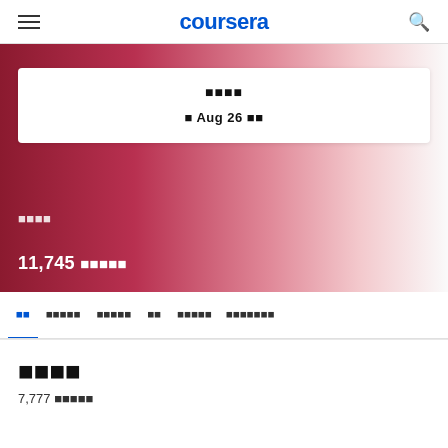coursera
■■■■
■ Aug 26 ■■
■■■■
11,745 ■■■■■
■■  ■■■■■  ■■■■■  ■■  ■■■■■  ■■■■■■■
■■■■
7,777 ■■■■■